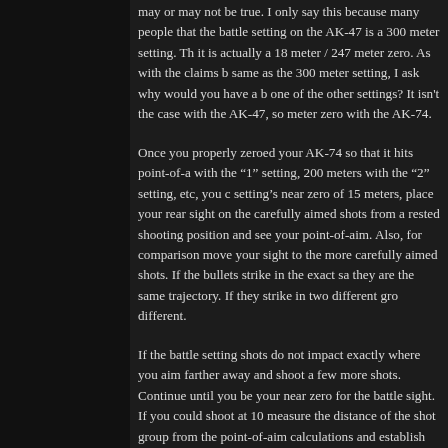may or may not be true. I only say this because many people that the battle setting on the AK-47 is a 300 meter setting. Th it is actually a 18 meter / 247 meter zero. As with the claims b same as the 300 meter setting, I ask why would you have a b one of the other settings? It isn't the case with the AK-47, so meter zero with the AK-74.
Once you properly zeroed your AK-74 so that it hits point-of-a with the "1" setting, 200 meters with the "2" setting, etc, you c setting's near zero of 15 meters, place your rear sight on the carefully aimed shots from a rested shooting position and see your point-of-aim. Also, for comparison move your sight to the more carefully aimed shots. If the bullets strike in the exact sa they are the same trajectory. If they strike in two different gro different.
If the battle setting shots do not impact exactly where you aim farther away and shoot a few more shots. Continue until you be your near zero for the battle sight. If you could shoot at 10 measure the distance of the shot group from the point-of-aim calculations and establish the true trajectory of the battle sett for proving everyone wrong. Once you set up your rifle itwo